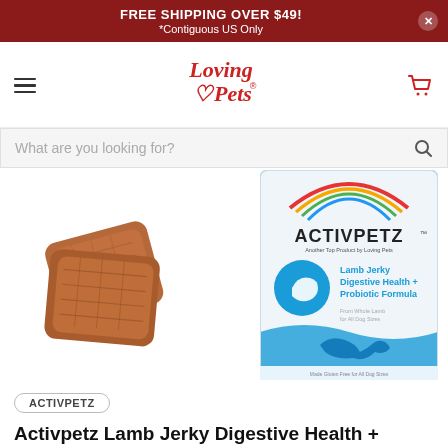FREE SHIPPING OVER $49!
*Contiguous US Only
[Figure (logo): Loving Pets logo with heart in red decorative font, hamburger menu icon on left, red shopping cart icon on right]
What are you looking for?
[Figure (photo): Two pieces of lamb jerky dog treats on left, and Activpetz Lamb Jerky Digestive Health + Probiotic Formula product package on right]
ACTIVPETZ
Activpetz Lamb Jerky Digestive Health + Probiotic Formula